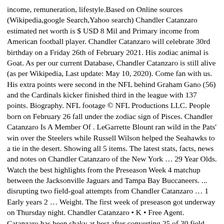income, remuneration, lifestyle.Based on Online sources (Wikipedia,google Search,Yahoo search) Chandler Catanzaro estimated net worth is $ USD 8 Mil and Primary income from American football player. Chandler Catanzaro will celebrate 30rd birthday on a Friday 26th of February 2021. His zodiac animal is Goat. As per our current Database, Chandler Catanzaro is still alive (as per Wikipedia, Last update: May 10, 2020). Come fan with us. His extra points were second in the NFL behind Graham Gano (56) and the Cardinals kicker finished third in the league with 137 points. Biography. NFL footage © NFL Productions LLC. People born on February 26 fall under the zodiac sign of Pisces. Chandler Catanzaro Is A Member Of . LeGarrette Blount ran wild in the Pats' win over the Steelers while Russell Wilson helped the Seahawks to a tie in the desert. Showing all 5 items. The latest stats, facts, news and notes on Chandler Catanzaro of the New York … 29 Year Olds. Watch the best highlights from the Preseason Week 4 matchup between the Jacksonville Jaguars and Tampa Bay Buccaneers. ... disrupting two field-goal attempts from Chandler Catanzaro … 1 Early years 2 … Weight. The first week of preseason got underway on Thursday night. Chandler Catanzaro • K • Free Agent. Catanzaro has been shaky at best after converting 25 of 30 field-goal attempts (83.3 percent) and each of his 29 PAT tries with the Jets in 2017. He is 29 years old and is a Pisces. Like many famous people and celebrities, Chandler Catanzaro keeps his personal life private. Height / Weight. Ezekiel Elliott's ground game brought home the win, but was it the best clutch performance